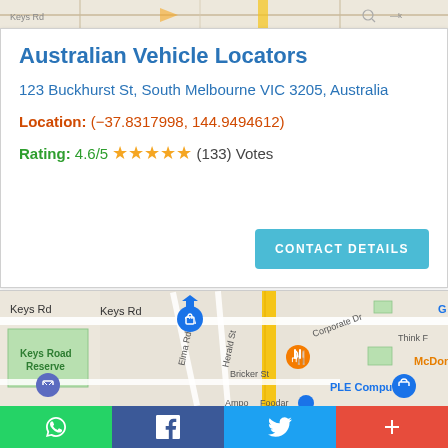[Figure (map): Partial street map strip at top of page showing road network background]
Australian Vehicle Locators
123 Buckhurst St, South Melbourne VIC 3205, Australia
Location: (-37.8317998, 144.9494612)
Rating: 4.6/5 ★★★★★ (133) Votes
[Figure (screenshot): CONTACT DETAILS button (light blue/teal)]
[Figure (map): Google Maps screenshot showing Keys Road area in South Melbourne. Shows Keys Road Reserve (green), McDonald's, PLE Computers, Bricker St, Elma Rd, Herald St, Corporate Dr. A blue location pin and orange McDonald's pin are visible. Yellow road (arterial) runs vertically.]
[Figure (infographic): Social share bar at bottom with WhatsApp (green), Facebook (dark blue), Twitter (light blue), and More/Plus (red) buttons with icons]